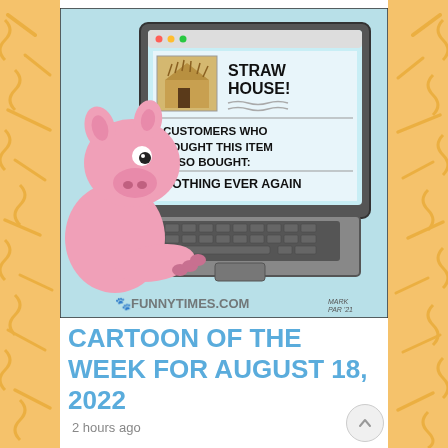[Figure (illustration): Cartoon from FunnyTimes.com showing a pink pig sitting at a laptop. The laptop screen displays a product listing for 'STRAW HOUSE!' with an image of a straw house, and below it says 'CUSTOMERS WHO BOUGHT THIS ITEM ALSO BOUGHT: NOTHING EVER AGAIN'. Signed by Mark Par '21.]
CARTOON OF THE WEEK FOR AUGUST 18, 2022
2 hours ago